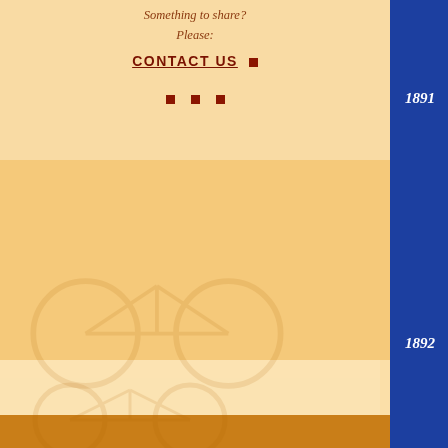Something to share? Please:
CONTACT US
1891
they return to printing.
1892
Wilbur Wright begins to sell and repair bicycles, perhaps inspired by a huge gathering of the American Wheelmen that takes place in Dayton on July 4 and 5. Later, Orville joins him. They keep the printing business, letting childhood friend Ed Sines run it.